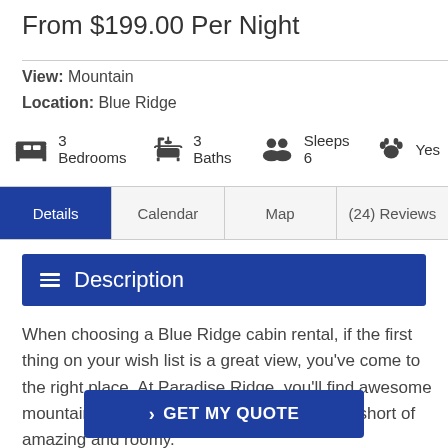From $199.00 Per Night
View: Mountain
Location: Blue Ridge
3 Bedrooms   3 Baths   Sleeps 6   Yes
Details | Calendar | Map | (24) Reviews
Description
When choosing a Blue Ridge cabin rental, if the first thing on your wish list is a great view, you've come to the right place. At Paradise Ridge, you'll find awesome mountain views and spaces that are nothing short of amazing and roomy...